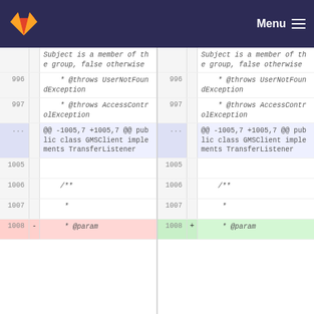GitLab diff view — Menu
[Figure (screenshot): Side-by-side code diff showing two versions of a Java file. Lines 996-997 show @throws JavaDoc comments for UserNotFoundException and AccessControlException. A hunk header shows @@ -1005,7 +1005,7 @@ for public class GMSClient implements TransferListener. Lines 1005-1007 are blank/comment lines. Line 1008 shows a deleted @param line on the left (red) and an added @param line on the right (green).]